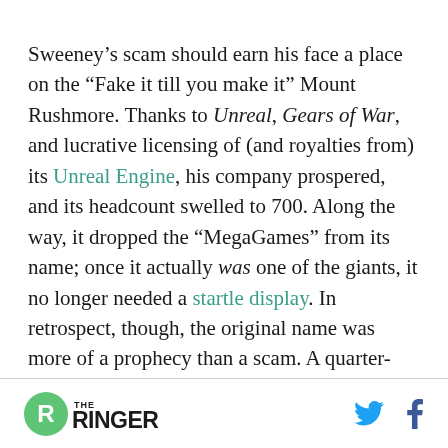Sweeney's scam should earn his face a place on the “Fake it till you make it” Mount Rushmore. Thanks to Unreal, Gears of War, and lucrative licensing of (and royalties from) its Unreal Engine, his company prospered, and its headcount swelled to 700. Along the way, it dropped the “MegaGames” from its name; once it actually was one of the giants, it no longer needed a startle display. In retrospect, though, the original name was more of a prophecy than a scam. A quarter-century after that rechristening,
THE RINGER